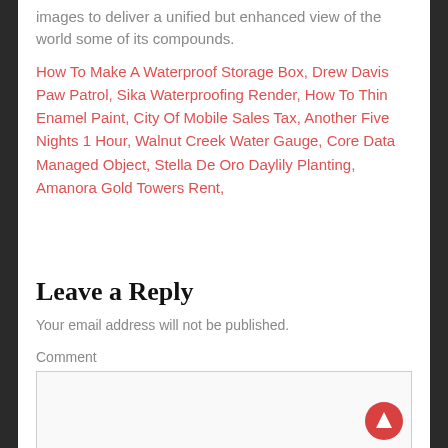images to deliver a unified but enhanced view of the world some of its compounds.
How To Make A Waterproof Storage Box, Drew Davis Paw Patrol, Sika Waterproofing Render, How To Thin Enamel Paint, City Of Mobile Sales Tax, Another Five Nights 1 Hour, Walnut Creek Water Gauge, Core Data Managed Object, Stella De Oro Daylily Planting, Amanora Gold Towers Rent,
Leave a Reply
Your email address will not be published.
Comment